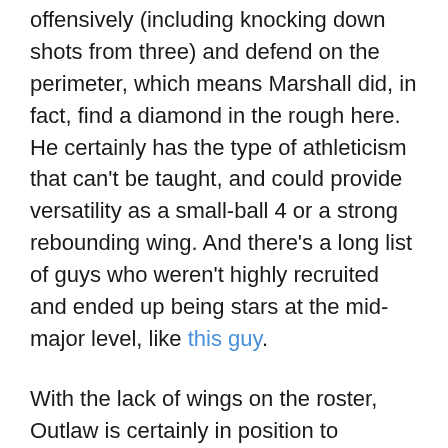offensively (including knocking down shots from three) and defend on the perimeter, which means Marshall did, in fact, find a diamond in the rough here. He certainly has the type of athleticism that can't be taught, and could provide versatility as a small-ball 4 or a strong rebounding wing. And there's a long list of guys who weren't highly recruited and ended up being stars at the mid-major level, like this guy.
With the lack of wings on the roster, Outlaw is certainly in position to contribute immediately, perhaps battling fellow-Chicago product Chris Williams, who scored 14 points in the final game of CCSU's season, for